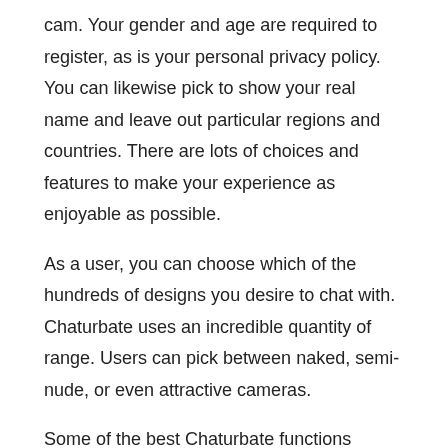cam. Your gender and age are required to register, as is your personal privacy policy. You can likewise pick to show your real name and leave out particular regions and countries. There are lots of choices and features to make your experience as enjoyable as possible.
As a user, you can choose which of the hundreds of designs you desire to chat with. Chaturbate uses an incredible quantity of range. Users can pick between naked, semi-nude, or even attractive cameras.
Some of the best Chaturbate functions involve earning money. By transmitting yourself for others to view, you can earn tokens and begin making some cash from house. To get started, you can follow their broadcasting suggestions area. There are likewise video tutorials and assistance on how to build a big fan base and generate income on Chaturbate. You can also browse through their Tags section to find performers that fit your choices. Popular tags are #teen, #lovense, and #big boobs.